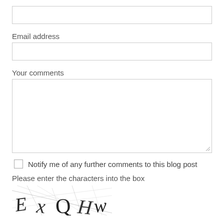Email address
Your comments
Notify me of any further comments to this blog post
Please enter the characters into the box
[Figure (other): CAPTCHA image with distorted characters EXQW]